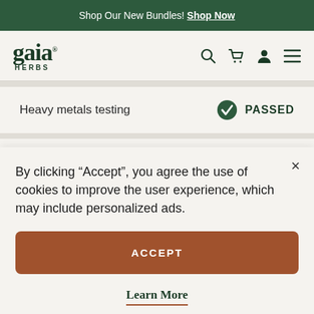Shop Our New Bundles! Shop Now
[Figure (logo): Gaia Herbs logo with stylized 'gaia' in serif font and 'HERBS' in small caps below]
Heavy metals testing   ✓ PASSED
By clicking “Accept”, you agree the use of cookies to improve the user experience, which may include personalized ads.
ACCEPT
Learn More